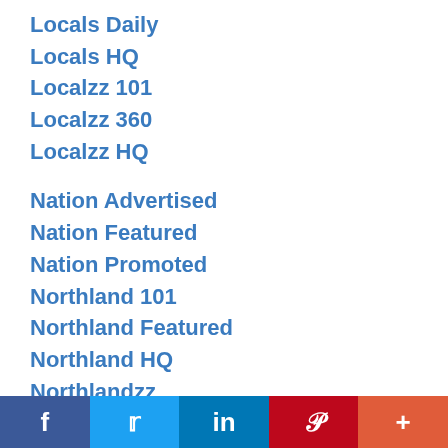Locals Daily
Locals HQ
Localzz 101
Localzz 360
Localzz HQ
Nation Advertised
Nation Featured
Nation Promoted
Northland 101
Northland Featured
Northland HQ
Northlandzz
Postingzz
Professionalzz
Productzz
f  Twitter  in  Pinterest  +